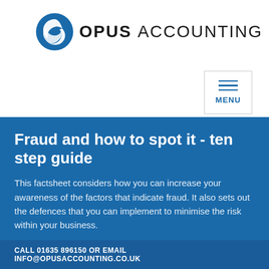[Figure (logo): Opus Accounting logo with blue circular swirl icon and bold text reading OPUS ACCOUNTING]
[Figure (infographic): Menu button with three horizontal blue lines and MENU label, bordered rectangle]
Fraud and how to spot it - ten step guide
This factsheet considers how you can increase your awareness of the factors that indicate fraud. It also sets out the defences that you can implement to minimise the risk within your business.
CALL 01635 896150 OR EMAIL INFO@OPUSACCOUNTING.CO.UK